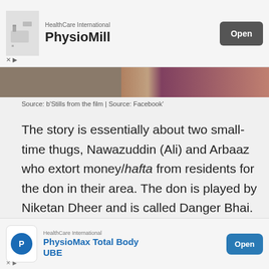[Figure (screenshot): Top advertisement banner for PhysioMill by HealthCare International with an Open button]
[Figure (photo): Partial image strip showing stills from a film]
Source: b'Stills from the film | Source: Facebook'
The story is essentially about two small-time thugs, Nawazuddin (Ali) and Arbaaz who extort money/hafta from residents for the don in their area. The don is played by Niketan Dheer and is called Danger Bhai. Nawazuddin and Arbaaz go to a golf course to take their hafta from a golfer, who's called them there. Nawazuddin keeps making fun of the golfer and how he can't seem to hit a ball straight, till the golfer asks him to try hitting a shot. Only to discover that N to train N a
[Figure (screenshot): Bottom advertisement banner for PhysioMax Total Body UBE by HealthCare International with an Open button]